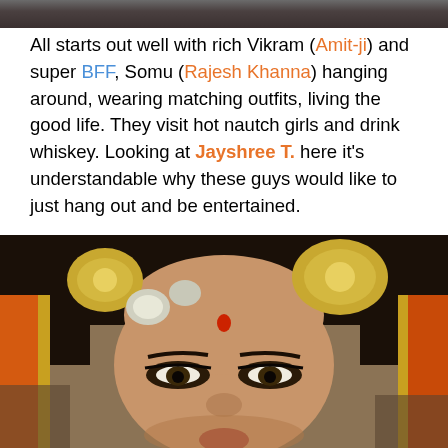[Figure (photo): Partial top photo showing people in a scene, cropped at top of page]
All starts out well with rich Vikram (Amit-ji) and super BFF, Somu (Rajesh Khanna) hanging around, wearing matching outfits, living the good life. They visit hot nautch girls and drink whiskey. Looking at Jayshree T. here it's understandable why these guys would like to just hang out and be entertained.
[Figure (photo): Close-up photo of a woman (Jayshree T.) dressed in traditional Indian attire with ornate gold jewelry and hair decorations, wearing dramatic eye makeup, looking directly at camera]